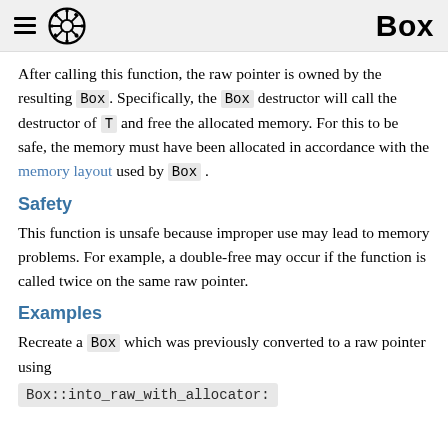Box
After calling this function, the raw pointer is owned by the resulting Box. Specifically, the Box destructor will call the destructor of T and free the allocated memory. For this to be safe, the memory must have been allocated in accordance with the memory layout used by Box .
Safety
This function is unsafe because improper use may lead to memory problems. For example, a double-free may occur if the function is called twice on the same raw pointer.
Examples
Recreate a Box which was previously converted to a raw pointer using
Box::into_raw_with_allocator: